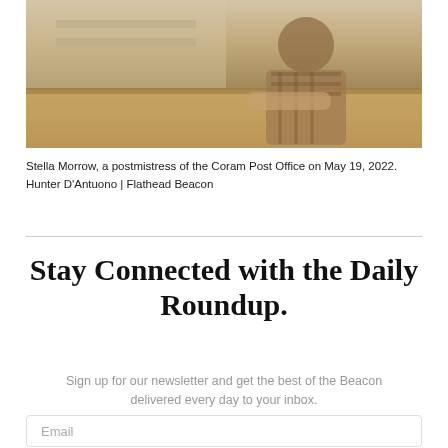[Figure (photo): Photo of Stella Morrow, a postmistress of the Coram Post Office, leaning on a wooden counter, wearing a plaid shirt, photographed on May 19, 2022.]
Stella Morrow, a postmistress of the Coram Post Office on May 19, 2022. Hunter D'Antuono | Flathead Beacon
Stay Connected with the Daily Roundup.
Sign up for our newsletter and get the best of the Beacon delivered every day to your inbox.